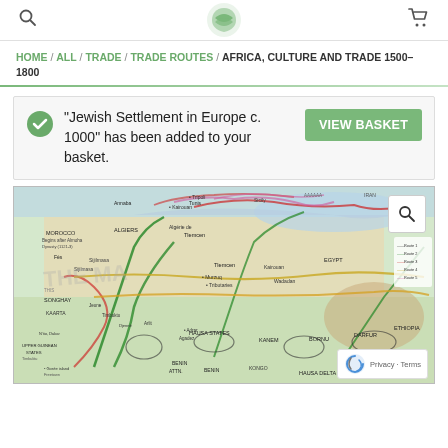[Logo icon] [Search icon] [Cart icon]
HOME / ALL / TRADE / TRADE ROUTES / AFRICA, CULTURE AND TRADE 1500–1800
"Jewish Settlement in Europe c. 1000" has been added to your basket.
[Figure (map): Historical map showing Africa trade routes 1500-1800 with colored route lines (green, red, yellow, pink) and labeled regions including Morocco, Egypt, Songhay, Hausa States, Ethiopia. Watermarked with 'THE MA...' logo.]